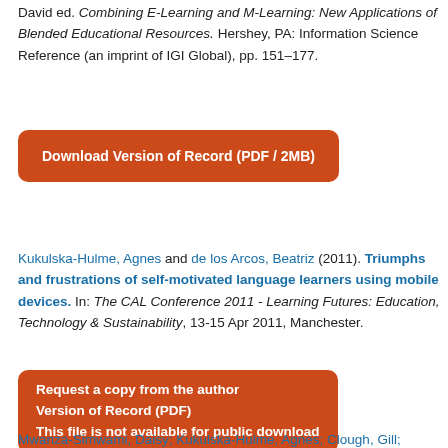David ed. Combining E-Learning and M-Learning: New Applications of Blended Educational Resources. Hershey, PA: Information Science Reference (an imprint of IGI Global), pp. 151–177.
Download Version of Record (PDF / 2MB)
Kukulska-Hulme, Agnes and de los Arcos, Beatriz (2011). Triumphs and frustrations of self-motivated language learners using mobile devices. In: The CAL Conference 2011 - Learning Futures: Education, Technology & Sustainability, 13-15 Apr 2011, Manchester.
Request a copy from the author
Version of Record (PDF)
This file is not available for public download
Mwanza-Simwami, Daisy; Kukulska-Hulme, Agnes; Clough, Gill;